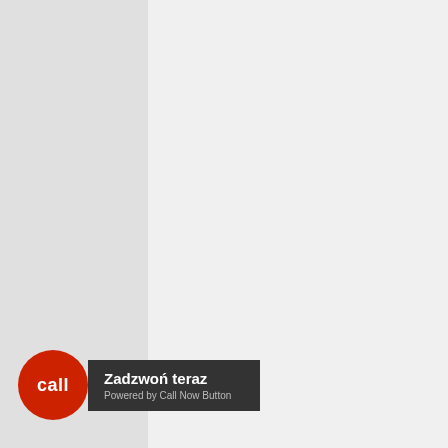</div>
                </div>
                <div
class="row">
                    <div
class="col-md-6">

<label>Nytt passord
</label>

<input type="password"
name="pass1" class="mid2
form-control" id="pass1"
value="" />
                    </div>
                    <div
class="col-md-6">

<label>Gjenta nytt passord
</label>

<input type="password"
name="pass2" class="mid2
form-control" id="pass2"

                    </div>
                    <div
class="col-md-12">
[Figure (other): Call Now Button overlay with a red circle labeled 'call' and a dark banner saying 'Zadzwoń teraz / Powered by Call Now Button']